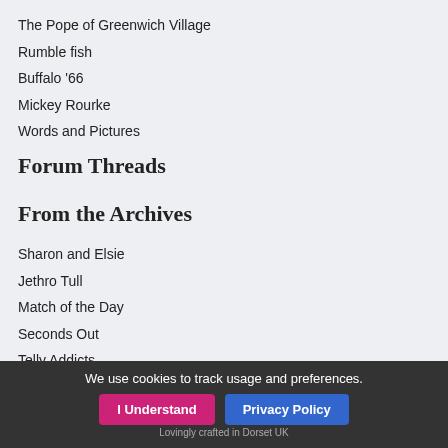The Pope of Greenwich Village
Rumble fish
Buffalo '66
Mickey Rourke
Words and Pictures
Forum Threads
From the Archives
Sharon and Elsie
Jethro Tull
Match of the Day
Seconds Out
Telly Addicts
Fantasia (1940)
Pagers
Curse of the Cobra
Take Hart
Pluck the Chicken
We use cookies to track usage and preferences. | I Understand | Privacy Policy | Lovingly crafted in Dorset UK